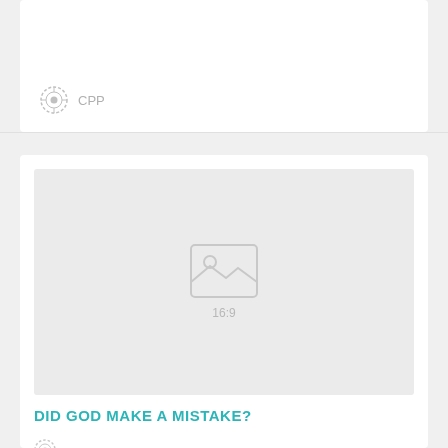CPP
[Figure (photo): Image placeholder with 16:9 aspect ratio indicator]
DID GOD MAKE A MISTAKE?